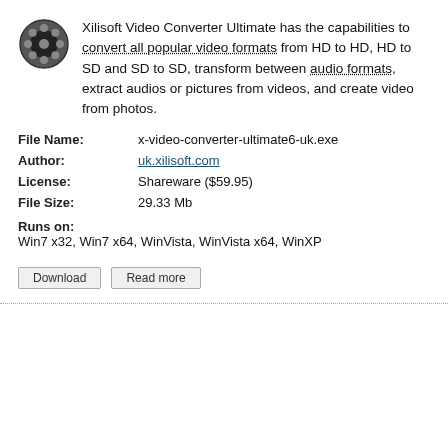Xilisoft Video Converter Ultimate has the capabilities to convert all popular video formats from HD to HD, HD to SD and SD to SD, transform between audio formats, extract audios or pictures from videos, and create video from photos.
| File Name: | x-video-converter-ultimate6-uk.exe |
| Author: | uk.xilisoft.com |
| License: | Shareware ($59.95) |
| File Size: | 29.33 Mb |
Runs on:
Win7 x32, Win7 x64, WinVista, WinVista x64, WinXP
Xilisoft Video Converter Platinum(UK)  v.6.5.2.0125